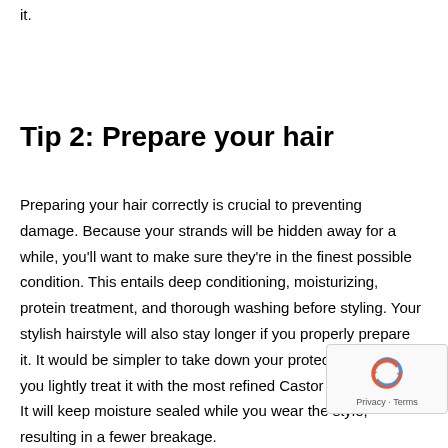it.
Tip 2: Prepare your hair
Preparing your hair correctly is crucial to preventing damage. Because your strands will be hidden away for a while, you'll want to make sure they're in the finest possible condition. This entails deep conditioning, moisturizing, protein treatment, and thorough washing before styling. Your stylish hairstyle will also stay longer if you properly prepare it. It would be simpler to take down your protective style if you lightly treat it with the most refined Castor Oil when b... It will keep moisture sealed while you wear the style, resulting in a fewer breakage.